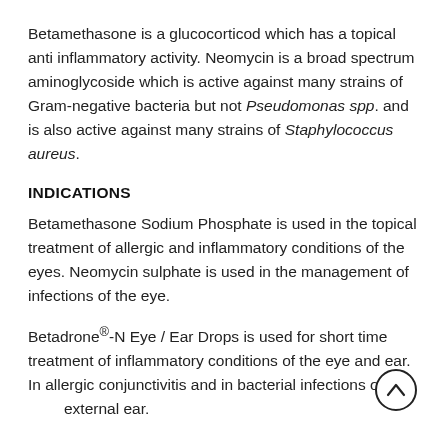Betamethasone is a glucocorticod which has a topical anti inflammatory activity. Neomycin is a broad spectrum aminoglycoside which is active against many strains of Gram-negative bacteria but not Pseudomonas spp. and is also active against many strains of Staphylococcus aureus.
INDICATIONS
Betamethasone Sodium Phosphate is used in the topical treatment of allergic and inflammatory conditions of the eyes. Neomycin sulphate is used in the management of infections of the eye.
Betadrone®-N Eye / Ear Drops is used for short time treatment of inflammatory conditions of the eye and ear. In allergic conjunctivitis and in bacterial infections of the external ear.